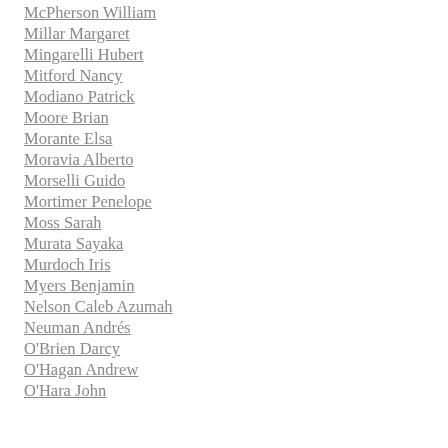McPherson William
Millar Margaret
Mingarelli Hubert
Mitford Nancy
Modiano Patrick
Moore Brian
Morante Elsa
Moravia Alberto
Morselli Guido
Mortimer Penelope
Moss Sarah
Murata Sayaka
Murdoch Iris
Myers Benjamin
Nelson Caleb Azumah
Neuman Andrés
O'Brien Darcy
O'Hagan Andrew
O'Hara John